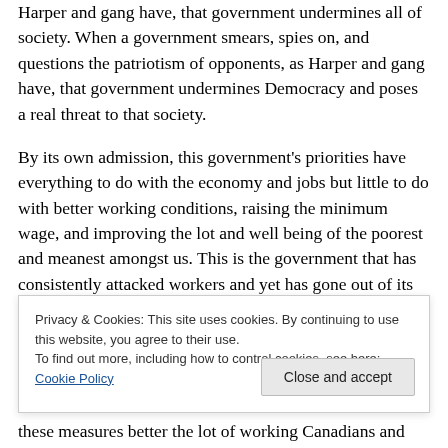Harper and gang have, that government undermines all of society. When a government smears, spies on, and questions the patriotism of opponents, as Harper and gang have, that government undermines Democracy and poses a real threat to that society.
By its own admission, this government's priorities have everything to do with the economy and jobs but little to do with better working conditions, raising the minimum wage, and improving the lot and well being of the poorest and meanest amongst us. This is the government that has consistently attacked workers and yet has gone out of its
Privacy & Cookies: This site uses cookies. By continuing to use this website, you agree to their use. To find out more, including how to control cookies, see here: Cookie Policy
these measures better the lot of working Canadians and